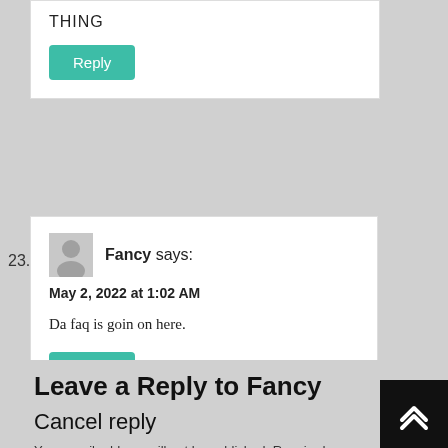THING
Reply
23.
Fancy says:
May 2, 2022 at 1:02 AM
Da faq is goin on here.
Reply
Leave a Reply to Fancy Cancel reply
Your email address will not be published. Required